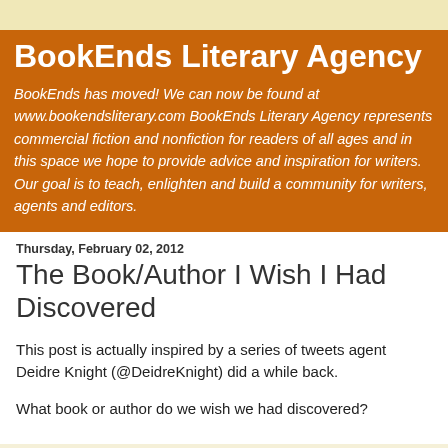BookEnds Literary Agency
BookEnds has moved! We can now be found at www.bookendsliterary.com BookEnds Literary Agency represents commercial fiction and nonfiction for readers of all ages and in this space we hope to provide advice and inspiration for writers. Our goal is to teach, enlighten and build a community for writers, agents and editors.
Thursday, February 02, 2012
The Book/Author I Wish I Had Discovered
This post is actually inspired by a series of tweets agent Deidre Knight (@DeidreKnight) did a while back.
What book or author do we wish we had discovered?